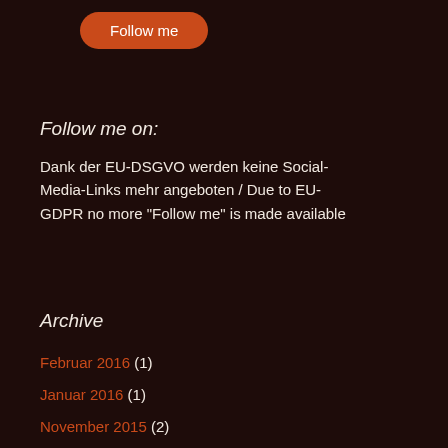[Figure (other): Orange rounded button labeled 'Follow me']
Follow me on:
Dank der EU-DSGVO werden keine Social-Media-Links mehr angeboten / Due to EU-GDPR no more "Follow me" is made available
Archive
Februar 2016 (1)
Januar 2016 (1)
November 2015 (2)